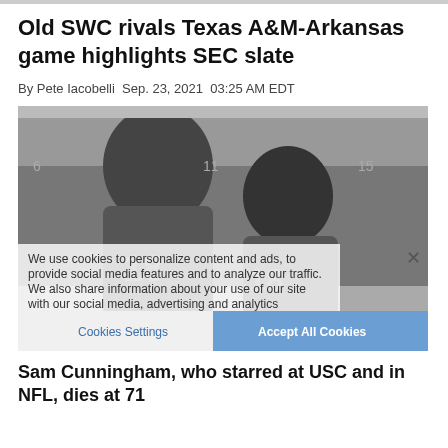Old SWC rivals Texas A&M-Arkansas game highlights SEC slate
By Pete Iacobelli Sep. 23, 2021 03:25 AM EDT
[Figure (photo): Black and white photograph of two football players, appearing to be from a locker room setting. A cookie consent overlay is visible on the lower portion of the image with text about cookies and a Privacy Policy link. An X close button is at the upper right of the overlay. Cookie Settings and Accept All Cookies buttons appear at the bottom.]
Sam Cunningham, who starred at USC and in NFL, dies at 71